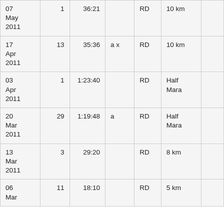| 07 May 2011 | 1 | 36:21 |  | RD | 10 km |  |
| 17 Apr 2011 | 13 | 35:36 | a x | RD | 10 km |  |
| 03 Apr 2011 | 1 | 1:23:40 |  | RD | Half Mara |  |
| 20 Mar 2011 | 29 | 1:19:48 | a | RD | Half Mara |  |
| 13 Mar 2011 | 3 | 29:20 |  | RD | 8 km |  |
| 06 Mar ... | 11 | 18:10 |  | RD | 5 km |  |